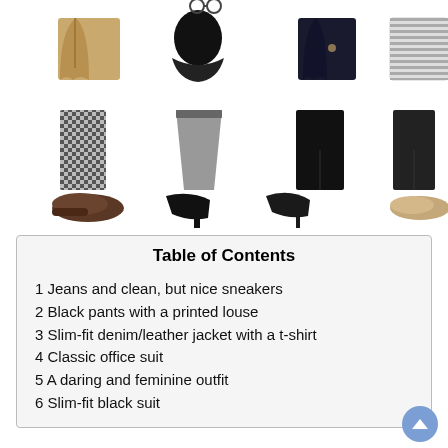[Figure (illustration): A 4×3 grid of clothing items: top row shows 4 jackets/tops (tan blazer, black peplum top, dark navy blazer, striped blazer), middle row shows 4 bottoms (checked pants, gray pencil skirt, black wide-leg pants, black slim pants), bottom row shows 4 pairs of shoes (brown oxford, black heeled pumps, black stiletto pump, nude flats).]
| 1 Jeans and clean, but nice sneakers |
| 2 Black pants with a printed louse |
| 3 Slim-fit denim/leather jacket with a t-shirt |
| 4 Classic office suit |
| 5 A daring and feminine outfit |
| 6 Slim-fit black suit |